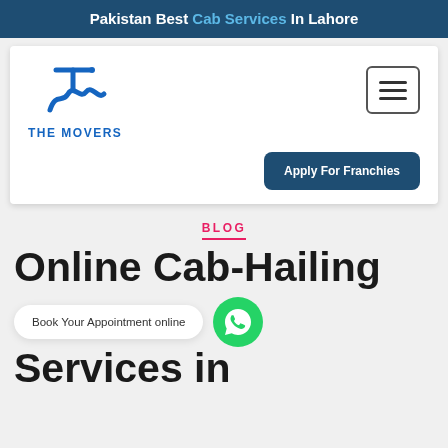Pakistan Best Cab Services In Lahore
[Figure (logo): The Movers company logo with stylized TM letters in blue and text THE MOVERS]
[Figure (other): Hamburger menu button (three horizontal lines in a rounded rectangle border)]
Apply For Franchies
BLOG
Online Cab-Hailing Services in
Book Your Appointment online
[Figure (other): WhatsApp green circular button icon]